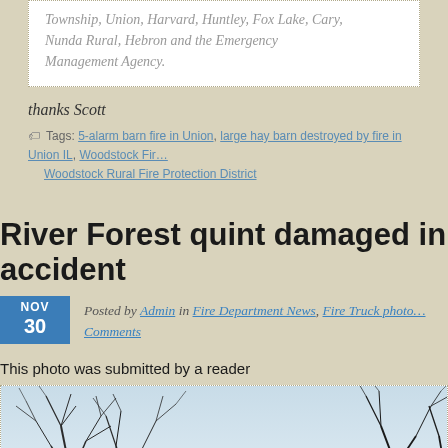Township, Union, Harvard, Huntley, Fox Lake, Cary, Nunda Rural, Hebron and the Emergency Management Agency.
thanks Scott
Tags: 5-alarm barn fire in Union, large hay barn destroyed by fire in Union IL, Woodstock Fire…, Woodstock Rural Fire Protection District
River Forest quint damaged in accident
Posted by Admin in Fire Department News, Fire Truck photo…, Comments — NOV 30
This photo was submitted by a reader
[Figure (photo): Outdoor winter photo showing bare trees against a light blue/white sky, partially visible, photo appears to be submitted by a reader related to a River Forest quint fire truck accident.]